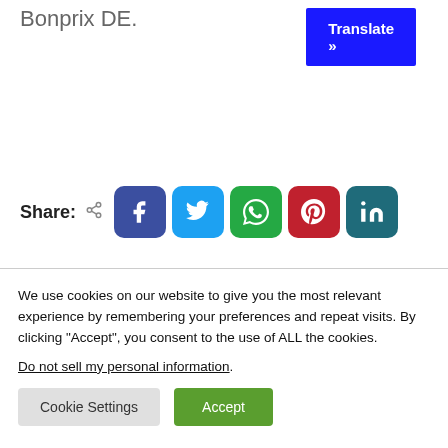Bonprix DE.
[Figure (screenshot): Translate button (blue) in top right corner]
[Figure (infographic): Share row with social media buttons: Facebook, Twitter, WhatsApp, Pinterest, LinkedIn]
We use cookies on our website to give you the most relevant experience by remembering your preferences and repeat visits. By clicking “Accept”, you consent to the use of ALL the cookies.
Do not sell my personal information.
[Figure (screenshot): Cookie Settings and Accept buttons]